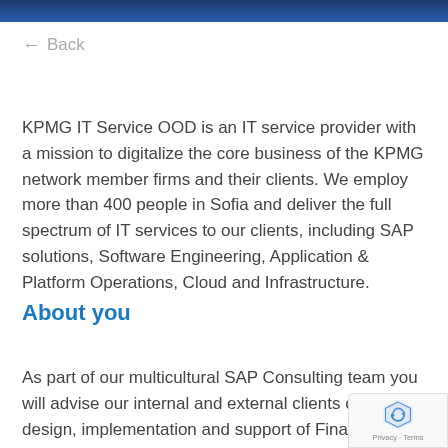← Back
KPMG IT Service OOD is an IT service provider with a mission to digitalize the core business of the KPMG network member firms and their clients. We employ more than 400 people in Sofia and deliver the full spectrum of IT services to our clients, including SAP solutions, Software Engineering, Application & Platform Operations, Cloud and Infrastructure.
About you
As part of our multicultural SAP Consulting team you will advise our internal and external clients on the design, implementation and support of Finance M...